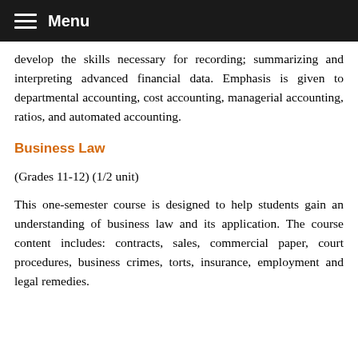Menu
develop the skills necessary for recording; summarizing and interpreting advanced financial data. Emphasis is given to departmental accounting, cost accounting, managerial accounting, ratios, and automated accounting.
Business Law
(Grades 11-12) (1/2 unit)
This one-semester course is designed to help students gain an understanding of business law and its application. The course content includes: contracts, sales, commercial paper, court procedures, business crimes, torts, insurance, employment and legal remedies.